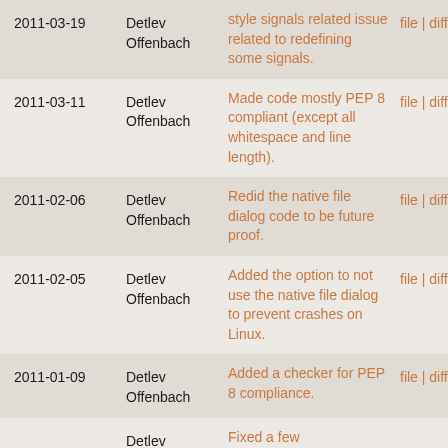| Date | Author | Message | Actions |
| --- | --- | --- | --- |
| 2011-03-19 | Detlev Offenbach | style signals related issue related to redefining some signals. | file | diff | annotate |
| 2011-03-11 | Detlev Offenbach | Made code mostly PEP 8 compliant (except all whitespace and line length). | file | diff | annotate |
| 2011-02-06 | Detlev Offenbach | Redid the native file dialog code to be future proof. | file | diff | annotate |
| 2011-02-05 | Detlev Offenbach | Added the option to not use the native file dialog to prevent crashes on Linux. | file | diff | annotate |
| 2011-01-09 | Detlev Offenbach | Added a checker for PEP 8 compliance. | file | diff | annotate |
|  | Detlev ... | Fixed a few ... |  |